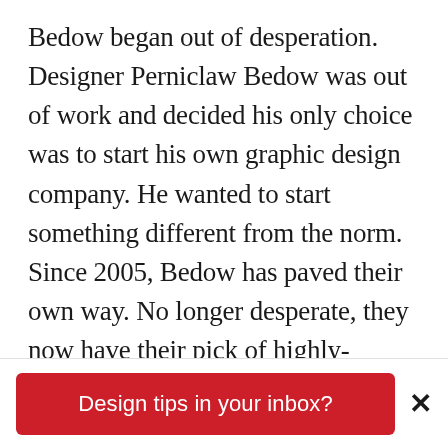Bedow began out of desperation. Designer Perniclaw Bedow was out of work and decided his only choice was to start his own graphic design company. He wanted to start something different from the norm. Since 2005, Bedow has paved their own way. No longer desperate, they now have their pick of highly-regarded clients to work for. Additionally they stay true to a unique aesthetic that brings playfulness, clever ideas and bright color palettes to the table. Their list of awards is lengthy and includes the European, German and Swedish Design
Design tips in your inbox?
×